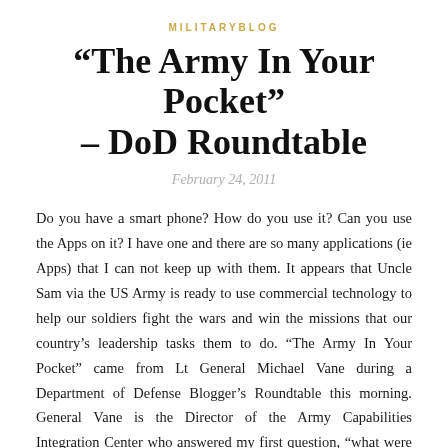MILITARYBLOG
“The Army In Your Pocket” – DoD Roundtable
February 24, 2011
Do you have a smart phone? How do you use it? Can you use the Apps on it? I have one and there are so many applications (ie Apps) that I can not keep up with them. It appears that Uncle Sam via the US Army is ready to use commercial technology to help our soldiers fight the wars and win the missions that our country’s leadership tasks them to do. “The Army In Your Pocket” came from Lt General Michael Vane during a Department of Defense Blogger’s Roundtable this morning. General Vane is the Director of the Army Capabilities Integration Center who answered my first question, “what were the…